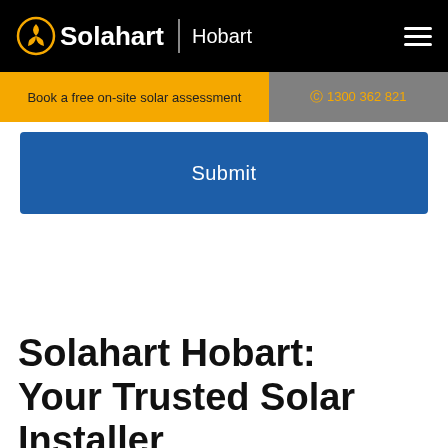Solahart | Hobart
Book a free on-site solar assessment
1300 362 821
Submit
Solahart Hobart: Your Trusted Solar Installer